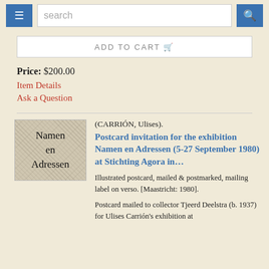search
ADD TO CART
Price: $200.00
Item Details
Ask a Question
[Figure (photo): Thumbnail image of Namen en Adressen postcard with handwritten script text]
(CARRIÓN, Ulises). Postcard invitation for the exhibition Namen en Adressen (5-27 September 1980) at Stichting Agora in...
Illustrated postcard, mailed & postmarked, mailing label on verso. [Maastricht: 1980].
Postcard mailed to collector Tjeerd Deelstra (b. 1937) for Ulises Carrión's exhibition at